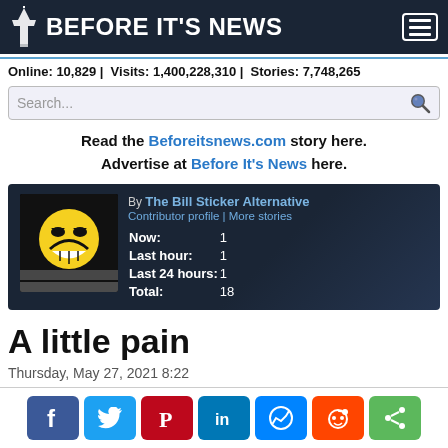BEFORE IT'S NEWS
Online: 10,829 | Visits: 1,400,228,310 | Stories: 7,748,265
[Figure (screenshot): Story card showing evil smiley face thumbnail, author The Bill Sticker Alternative, Contributor profile | More stories, Now: 1, Last hour: 1, Last 24 hours: 1, Total: 18]
A little pain
Thursday, May 27, 2021 8:22
[Figure (other): Social share buttons: Facebook, Twitter, Pinterest, LinkedIn, Messenger, Reddit, Share]